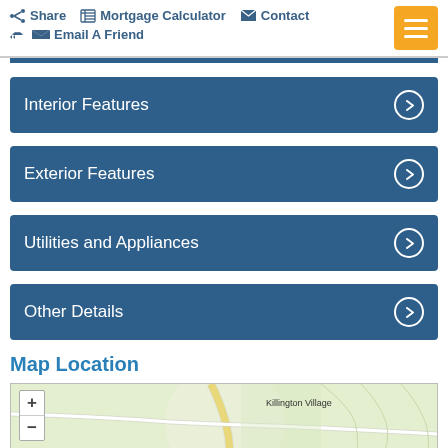Share  Mortgage Calculator  Contact  Email A Friend
Interior Features
Exterior Features
Utilities and Appliances
Other Details
Map Location
[Figure (map): Map showing Killington Village area with roads and terrain, zoom +/- controls visible]